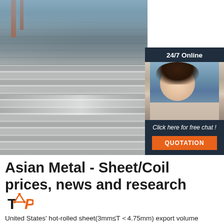[Figure (photo): Steel/metal sheet plates stacked in an industrial warehouse, viewed from a low angle showing the flat surface of the sheets with industrial structure visible in the background. An overlay sidebar on the right shows '24/7 Online' customer service with a photo of a woman with headset, and buttons for 'Click here for free chat!' and 'QUOTATION'.]
Asian Metal - Sheet/Coil prices, news and research
United States' hot-rolled sheet(3mm≤T＜4.75mm) export volume increased 293.09% YoY in Jun